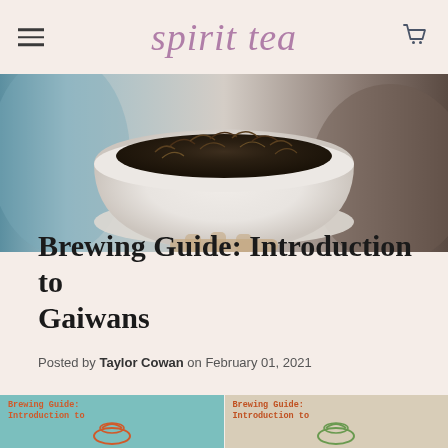spirit tea
[Figure (photo): Close-up photo of a white ceramic bowl/gaiwan filled with dark twisted tea leaves, held by a hand against a blurred background]
Brewing Guide: Introduction to Gaiwans
Posted by Taylor Cowan on February 01, 2021
[Figure (photo): Two thumbnail images side by side showing brewing guide cards: left card has teal/mint background with orange gaiwan illustration and text 'Brewing Guide: Introduction to'; right card has beige/tan background with green gaiwan illustration and same text]